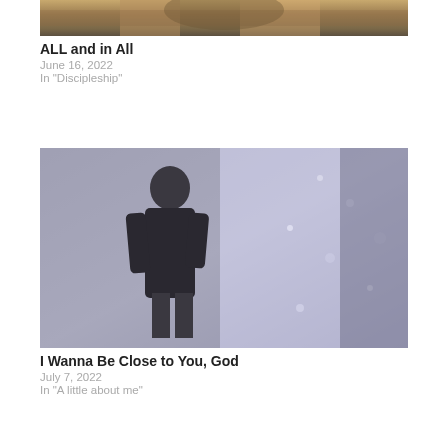[Figure (photo): Partial top of an image showing a painted or mosaic religious figure with golden tones, cropped at top of page]
ALL and in All
June 16, 2022
In "Discipleship"
[Figure (photo): Black and white vintage photograph of a person standing outdoors, wearing dark clothing, with a blurred wintry background with purple/blue tones]
I Wanna Be Close to You, God
July 7, 2022
In "A little about me"